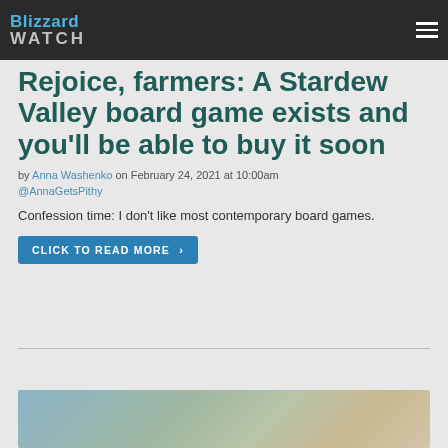Blizzard WATCH
Rejoice, farmers: A Stardew Valley board game exists and you'll be able to buy it soon
by Anna Washenko on February 24, 2021 at 10:00am @AnnaGetsPithy
Confession time: I don't like most contemporary board games.
Click to read more >
[Figure (photo): Bottom portion of an article image, partially visible]